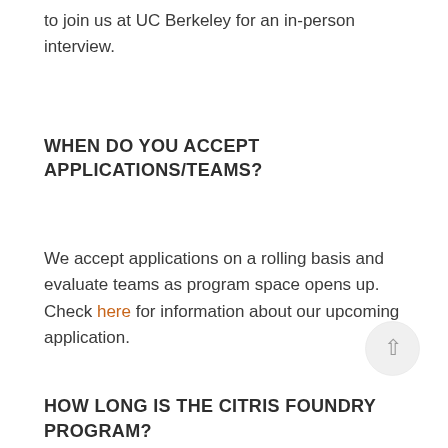to join us at UC Berkeley for an in-person interview.
WHEN DO YOU ACCEPT APPLICATIONS/TEAMS?
We accept applications on a rolling basis and evaluate teams as program space opens up. Check here for information about our upcoming application.
[Figure (other): Circular scroll-to-top button with upward arrow icon]
HOW LONG IS THE CITRIS FOUNDRY PROGRAM?